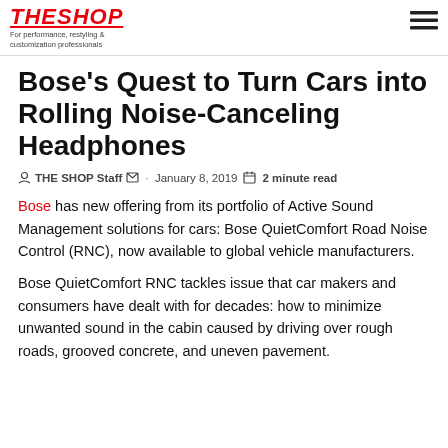THE SHOP — For performance, restyling & customization professionals
Bose's Quest to Turn Cars into Rolling Noise-Canceling Headphones
THE SHOP Staff · January 8, 2019 · 2 minute read
Bose has new offering from its portfolio of Active Sound Management solutions for cars: Bose QuietComfort Road Noise Control (RNC), now available to global vehicle manufacturers.
Bose QuietComfort RNC tackles issue that car makers and consumers have dealt with for decades: how to minimize unwanted sound in the cabin caused by driving over rough roads, grooved concrete, and uneven pavement.